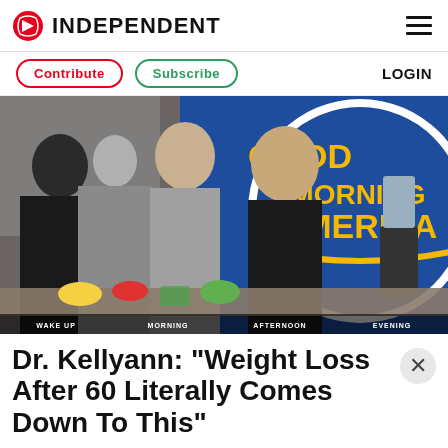INDEPENDENT
Contribute | Subscribe | LOGIN
[Figure (photo): Photo of women on Good Morning America set with food and blenders on table, GMA logo visible in background]
Dr. Kellyann: "Weight Loss After 60 Literally Comes Down To This"